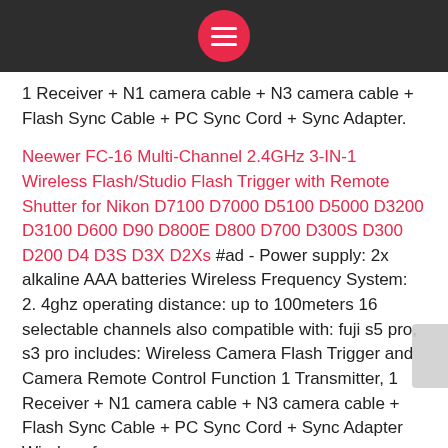[menu button]
1 Receiver + N1 camera cable + N3 camera cable + Flash Sync Cable + PC Sync Cord + Sync Adapter.
Neewer FC-16 Multi-Channel 2.4GHz 3-IN-1 Wireless Flash/Studio Flash Trigger with Remote Shutter for Nikon D7100 D7000 D5100 D5000 D3200 D3100 D600 D90 D800E D800 D700 D300S D300 D200 D4 D3S D3X D2Xs #ad - Power supply: 2x alkaline AAA batteries Wireless Frequency System: 2. 4ghz operating distance: up to 100meters 16 selectable channels also compatible with: fuji s5 pro, s3 pro includes: Wireless Camera Flash Trigger and Camera Remote Control Function 1 Transmitter, 1 Receiver + N1 camera cable + N3 camera cable + Flash Sync Cable + PC Sync Cord + Sync Adapter Wireless frequency